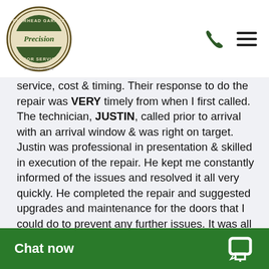Precision Door Service — overhead garage door service logo, phone icon, menu icon
service, cost & timing. Their response to do the repair was VERY timely from when I first called. The technician, JUSTIN, called prior to arrival with an arrival window & was right on target. Justin was professional in presentation & skilled in execution of the repair. He kept me constantly informed of the issues and resolved it all very quickly. He completed the repair and suggested upgrades and maintenance for the doors that I could do to prevent any further issues. It was all exceptionally helpful. Cost was reasonable and they accepted check or credit card right on site...very conv confidence. I HIG
Chat now